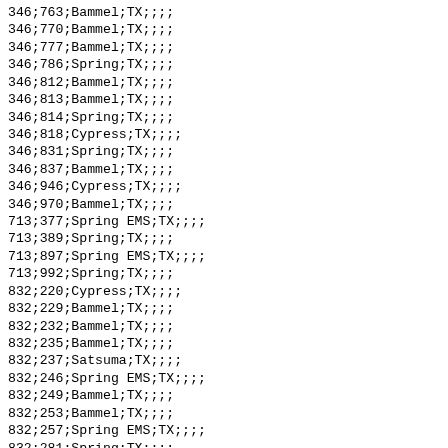346;763;Bammel;TX;;;;
346;770;Bammel;TX;;;;
346;777;Bammel;TX;;;;
346;786;Spring;TX;;;;
346;812;Bammel;TX;;;;
346;813;Bammel;TX;;;;
346;814;Spring;TX;;;;
346;818;Cypress;TX;;;;
346;831;Spring;TX;;;;
346;837;Bammel;TX;;;;
346;946;Cypress;TX;;;;
346;970;Bammel;TX;;;;
713;377;Spring EMS;TX;;;;
713;389;Spring;TX;;;;
713;897;Spring EMS;TX;;;;
713;992;Spring;TX;;;;
832;220;Cypress;TX;;;;
832;229;Bammel;TX;;;;
832;232;Bammel;TX;;;;
832;235;Bammel;TX;;;;
832;237;Satsuma;TX;;;;
832;246;Spring EMS;TX;;;;
832;249;Bammel;TX;;;;
832;253;Bammel;TX;;;;
832;257;Spring EMS;TX;;;;
832;281;Spring;TX;;;;
832;286;Bammel;TX;;;;
832;290;Bammel;TX;;;;
832;296;Spring;TX;;;;
832;299;Spring EMS;TX;;;;